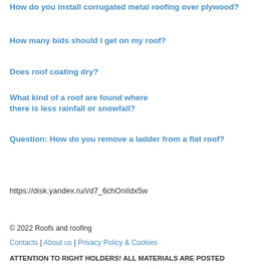How do you install corrugated metal roofing over plywood?
How many bids should I get on my roof?
Does roof coating dry?
What kind of a roof are found where there is less rainfall or snowfall?
Question: How do you remove a ladder from a flat roof?
https://disk.yandex.ru/i/d7_6chOniIdx5w
© 2022 Roofs and roofing
Contacts | About us | Privacy Policy & Cookies
ATTENTION TO RIGHT HOLDERS! All materials are posted